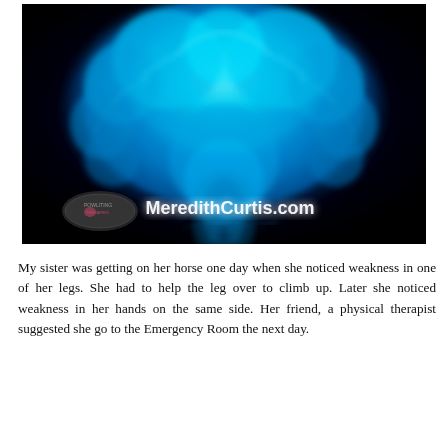[Figure (photo): A glowing cyan/blue X-ray style illustration of a human brain viewed from below against a black background. The word 'MeredithCurtis.com' is overlaid in white bold text at the bottom right. A small logo/watermark is visible in the bottom left corner.]
My sister was getting on her horse one day when she noticed weakness in one of her legs. She had to help the leg over to climb up. Later she noticed weakness in her hands on the same side. Her friend, a physical therapist suggested she go to the Emergency Room the next day.